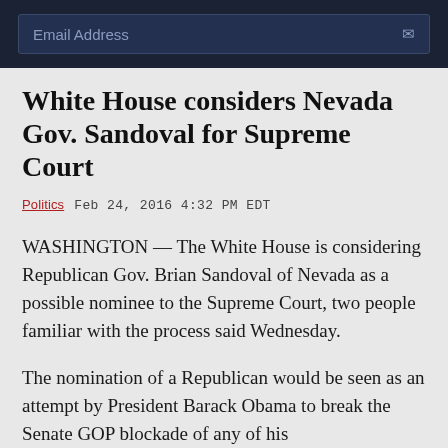Email Address
White House considers Nevada Gov. Sandoval for Supreme Court
Politics   Feb 24, 2016 4:32 PM EDT
WASHINGTON — The White House is considering Republican Gov. Brian Sandoval of Nevada as a possible nominee to the Supreme Court, two people familiar with the process said Wednesday.
The nomination of a Republican would be seen as an attempt by President Barack Obama to break the Senate GOP blockade of any of his